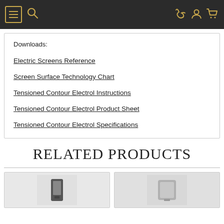Navigation bar with menu, search, phone, account, and cart icons
Downloads:
Electric Screens Reference
Screen Surface Technology Chart
Tensioned Contour Electrol Instructions
Tensioned Contour Electrol Product Sheet
Tensioned Contour Electrol Specifications
RELATED PRODUCTS
[Figure (photo): Two product thumbnail images shown at the bottom of the page]